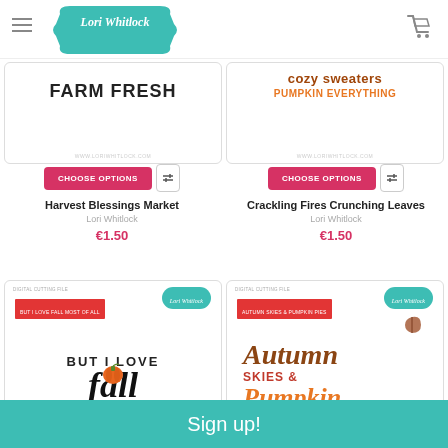Lori Whitlock
[Figure (screenshot): Product image: Harvest Blessings Market Farm Fresh design]
[Figure (screenshot): Product image: Crackling Fires Crunching Leaves / Cozy Sweaters Pumpkin Everything design]
CHOOSE OPTIONS
Harvest Blessings Market
Lori Whitlock
€1.50
CHOOSE OPTIONS
Crackling Fires Crunching Leaves
Lori Whitlock
€1.50
[Figure (screenshot): Product image: But I Love Fall Most of All circular design with pumpkin]
[Figure (screenshot): Product image: Autumn Skies & Pumpkin Pies design]
Sign up!